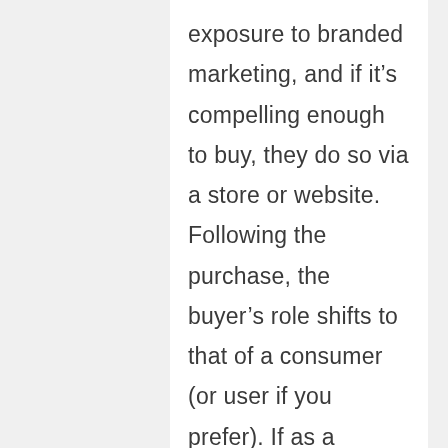exposure to branded marketing, and if it's compelling enough to buy, they do so via a store or website. Following the purchase, the buyer's role shifts to that of a consumer (or user if you prefer). If as a consumer, they are happy with the product, they might buy it again, or perhaps buy it for someone else; if not, they will likely